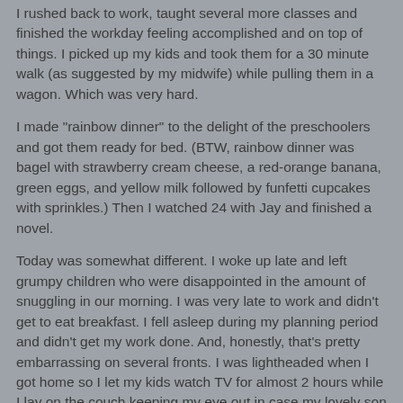I rushed back to work, taught several more classes and finished the workday feeling accomplished and on top of things. I picked up my kids and took them for a 30 minute walk (as suggested by my midwife) while pulling them in a wagon. Which was very hard.
I made "rainbow dinner" to the delight of the preschoolers and got them ready for bed. (BTW, rainbow dinner was bagel with strawberry cream cheese, a red-orange banana, green eggs, and yellow milk followed by funfetti cupcakes with sprinkles.) Then I watched 24 with Jay and finished a novel.
Today was somewhat different. I woke up late and left grumpy children who were disappointed in the amount of snuggling in our morning. I was very late to work and didn't get to eat breakfast. I fell asleep during my planning period and didn't get my work done. And, honestly, that's pretty embarrassing on several fronts. I was lightheaded when I got home so I let my kids watch TV for almost 2 hours while I lay on the couch keeping my eye out in case my lovely son decided to climb the DVD tower.